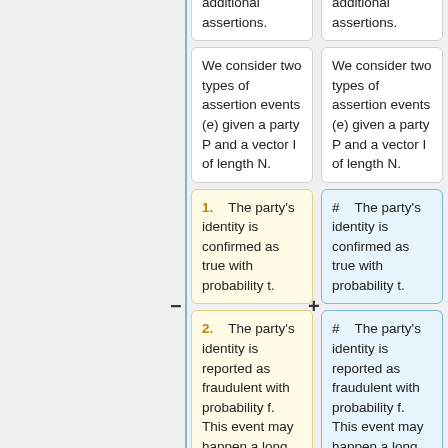will need to provide additional assertions.
will need to provide additional assertions.
We consider two types of assertion events (e) given a party P and a vector I of length N.
We consider two types of assertion events (e) given a party P and a vector I of length N.
1.  The party's identity is confirmed as true with probability t.
#  The party's identity is confirmed as true with probability t.
2.  The party's identity is reported as fraudulent with probability f. This event may happen a long
#  The party's identity is reported as fraudulent with probability f. This event may happen a long